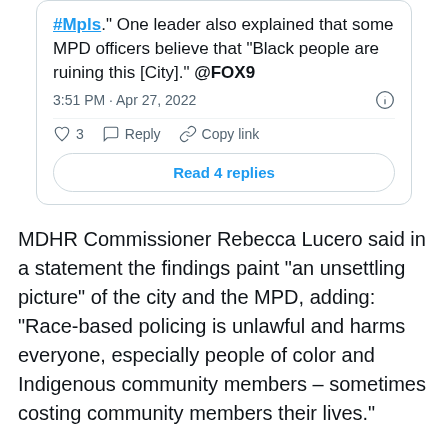[Figure (screenshot): Partial tweet screenshot showing text about #Mpls, MPD officers, and Black people comment, with timestamp 3:51 PM · Apr 27, 2022, like/reply/copy link actions, and Read 4 replies button]
MDHR Commissioner Rebecca Lucero said in a statement the findings paint "an unsettling picture" of the city and the MPD, adding: "Race-based policing is unlawful and harms everyone, especially people of color and Indigenous community members – sometimes costing community members their lives."
MDHR will work with the City of Minneapolis to